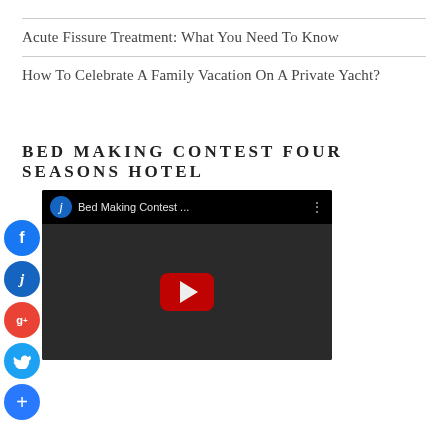Acute Fissure Treatment: What You Need To Know
How To Celebrate A Family Vacation On A Private Yacht?
BED MAKING CONTEST FOUR SEASONS HOTEL
[Figure (screenshot): Embedded YouTube video thumbnail showing 'Bed Making Contest ...' with dark background and red play button, with social share buttons (Facebook, Google+, Twitter, More) on the left side]